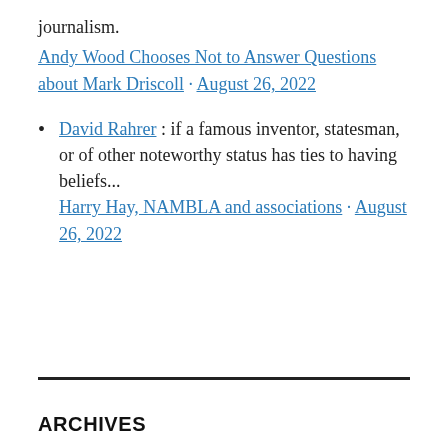journalism.
Andy Wood Chooses Not to Answer Questions about Mark Driscoll · August 26, 2022
David Rahrer : if a famous inventor, statesman, or of other noteworthy status has ties to having beliefs... Harry Hay, NAMBLA and associations · August 26, 2022
ARCHIVES